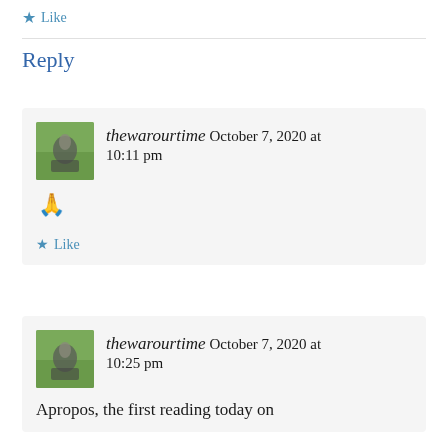★ Like
Reply
thewarourtime  October 7, 2020 at 10:11 pm
🙏
★ Like
thewarourtime  October 7, 2020 at 10:25 pm
Apropos, the first reading today on